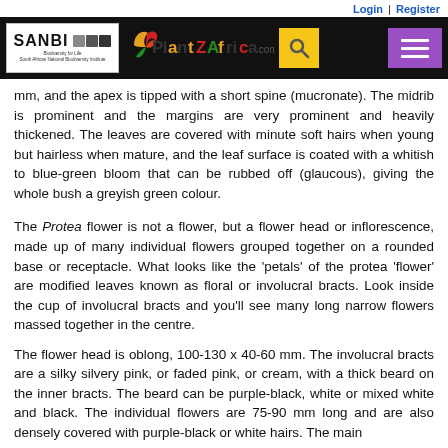Login | Register
[Figure (logo): PlantZAfrica.com website navigation bar with SANBI logo, PlantZAfrica.com colorful logo text, yellow search icon button, and purple hamburger menu button on black background]
mm, and the apex is tipped with a short spine (mucronate). The midrib is prominent and the margins are very prominent and heavily thickened. The leaves are covered with minute soft hairs when young but hairless when mature, and the leaf surface is coated with a whitish to blue-green bloom that can be rubbed off (glaucous), giving the whole bush a greyish green colour.
The Protea flower is not a flower, but a flower head or inflorescence, made up of many individual flowers grouped together on a rounded base or receptacle. What looks like the 'petals' of the protea 'flower' are modified leaves known as floral or involucral bracts. Look inside the cup of involucral bracts and you'll see many long narrow flowers massed together in the centre.
The flower head is oblong, 100-130 x 40-60 mm. The involucral bracts are a silky silvery pink, or faded pink, or cream, with a thick beard on the inner bracts. The beard can be purple-black, white or mixed white and black. The individual flowers are 75-90 mm long and are also densely covered with purple-black or white hairs. The main